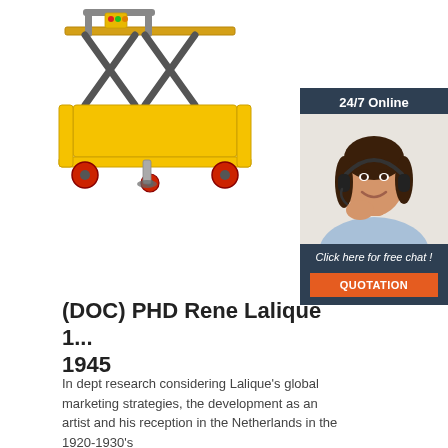[Figure (photo): Yellow electric scissor lift table with red wheels and control box, on white background]
[Figure (photo): 24/7 Online chat widget sidebar showing a female customer service agent with headset, with 'Click here for free chat!' text and orange QUOTATION button]
(DOC) PHD Rene Lalique 1... 1945
In dept research considering Lalique's global marketing strategies, the development as an artist and his reception in the Netherlands in the 1920-1930's